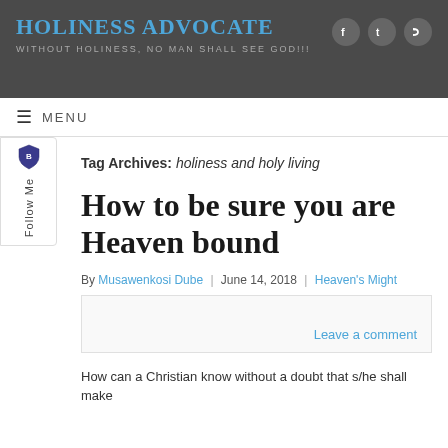Holiness Advocate — WITHOUT HOLINESS, NO MAN SHALL SEE GOD!!!
How to be sure you are Heaven bound
Tag Archives: holiness and holy living
By Musawenkosi Dube | June 14, 2018 | Heaven's Might
Leave a comment
How can a Christian know without a doubt that s/he shall make